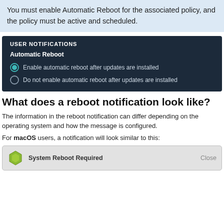You must enable Automatic Reboot for the associated policy, and the policy must be active and scheduled.
[Figure (screenshot): Dark UI panel labeled USER NOTIFICATIONS showing Automatic Reboot settings with two radio buttons: 'Enable automatic reboot after updates are installed' (selected) and 'Do not enable automatic reboot after updates are installed']
What does a reboot notification look like?
The information in the reboot notification can differ depending on the operating system and how the message is configured.
For macOS users, a notification will look similar to this:
[Figure (screenshot): System notification preview showing 'System Reboot Required' with a macOS-style icon and a 'Close' button]